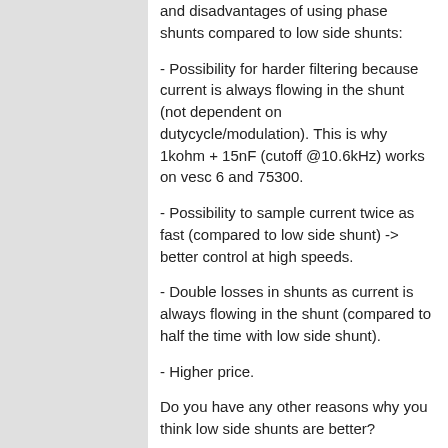and disadvantages of using phase shunts compared to low side shunts:
- Possibility for harder filtering because current is always flowing in the shunt (not dependent on dutycycle/modulation). This is why 1kohm + 15nF (cutoff @10.6kHz) works on vesc 6 and 75300.
- Possibility to sample current twice as fast (compared to low side shunt) -> better control at high speeds.
- Double losses in shunts as current is always flowing in the shunt (compared to half the time with low side shunt).
- Higher price.
Do you have any other reasons why you think low side shunts are better?